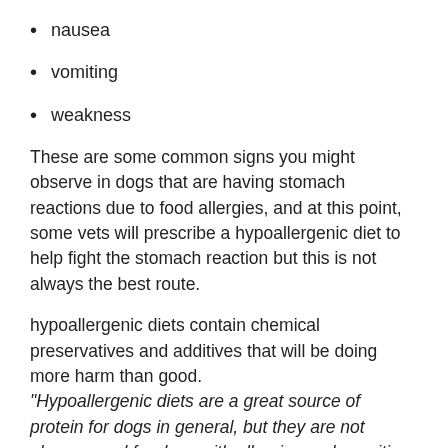nausea
vomiting
weakness
These are some common signs you might observe in dogs that are having stomach reactions due to food allergies, and at this point, some vets will prescribe a hypoallergenic diet to help fight the stomach reaction but this is not always the best route.
hypoallergenic diets contain chemical preservatives and additives that will be doing more harm than good. “Hypoallergenic diets are a great source of protein for dogs in general, but they are not always good for dogs with allergies and sensitive stomachs”.
Why Are Dogs Allergic To